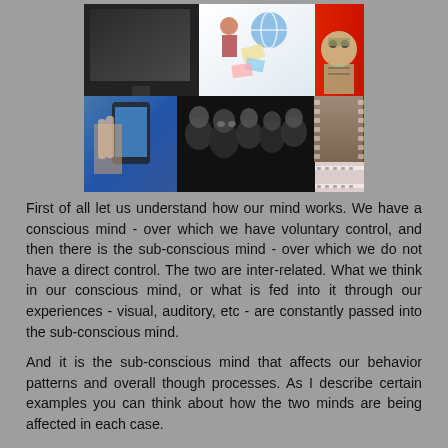[Figure (photo): Collage of media images: a flat-screen TV, multimedia/learning icons, a comic book character, a person using a smartphone, a group of dark faces, and a film roll canister]
First of all let us understand how our mind works. We have a conscious mind - over which we have voluntary control, and then there is the sub-conscious mind - over which we do not have a direct control. The two are inter-related. What we think in our conscious mind, or what is fed into it through our experiences - visual, auditory, etc - are constantly passed into the sub-conscious mind.
And it is the sub-conscious mind that affects our behavior patterns and overall though processes. As I describe certain examples you can think about how the two minds are being affected in each case.
I have noticed of late that the younger generations are